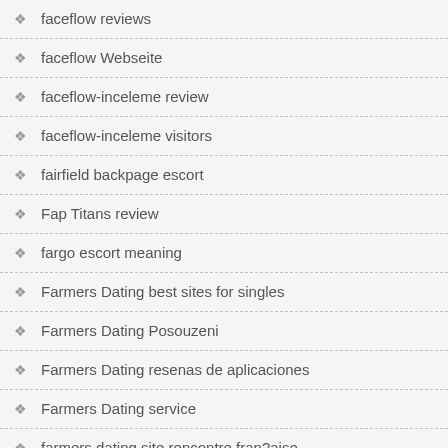faceflow reviews
faceflow Webseite
faceflow-inceleme review
faceflow-inceleme visitors
fairfield backpage escort
Fap Titans review
fargo escort meaning
Farmers Dating best sites for singles
Farmers Dating Posouzeni
Farmers Dating resenas de aplicaciones
Farmers Dating service
farmers dating site rencontre fran?aise